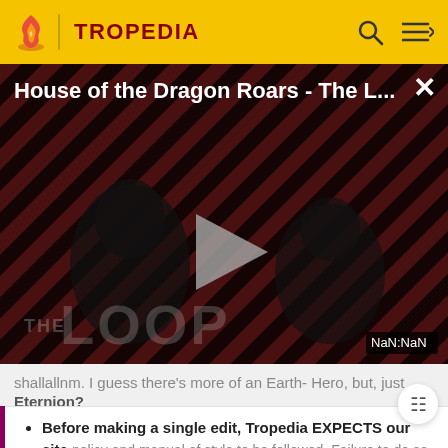TROPEDIA
[Figure (screenshot): Video player showing 'House of the Dragon Roars - The L...' with a play button overlay, striped red/dark background, two silhouetted figures, 'THE LOOP' text watermark, and NaN:NaN timestamp. Close button (X) in top right.]
...shallallnm. I guess there's more of an Earth-Hero, but just Eternion?
Before making a single edit, Tropedia EXPECTS our site policy and manual of style to be followed. Failure to do so may
READ MORE